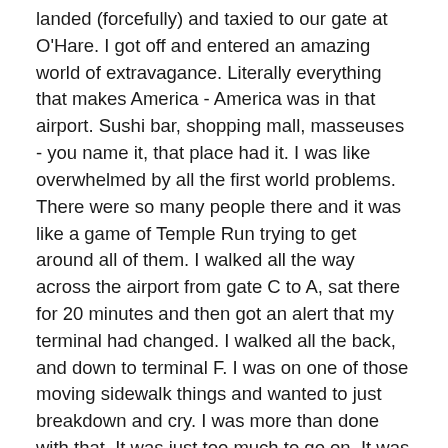landed (forcefully) and taxied to our gate at O'Hare. I got off and entered an amazing world of extravagance. Literally everything that makes America - America was in that airport. Sushi bar, shopping mall, masseuses - you name it, that place had it. I was like overwhelmed by all the first world problems. There were so many people there and it was like a game of Temple Run trying to get around all of them. I walked all the way across the airport from gate C to A, sat there for 20 minutes and then got an alert that my terminal had changed. I walked all the back, and down to terminal F. I was on one of those moving sidewalk things and wanted to just breakdown and cry. I was more than done with that. It was just too much to go on. It was just before midnight and I'd spent the entire day in the airport, I was like not taking anything. I made it to my terminal finally and just sat there. People came and went all around me. A group of sign language using Canadian women came and just signed all over me, and I was literally in the middle of their conversation. Like that place was so random. The most awkward thing happened when I was sitting